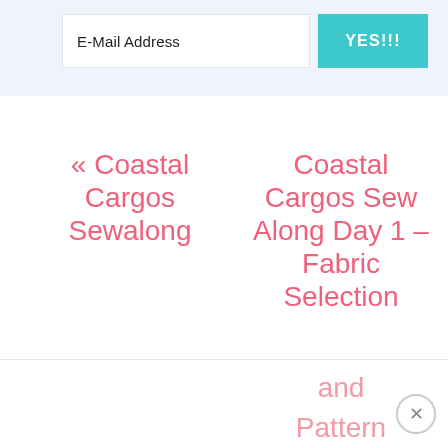E-Mail Address
YES!!!
« Coastal Cargos Sewalong
Coastal Cargos Sew Along Day 1 – Fabric Selection
and
Pattern